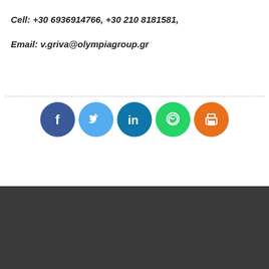Cell: +30 6936914766, +30 210 8181581,
Email: v.griva@olympiagroup.gr
[Figure (infographic): Row of five social media / sharing icon circles: Facebook (dark blue), Twitter (light blue), LinkedIn (teal blue), WhatsApp (green), Print (orange)]